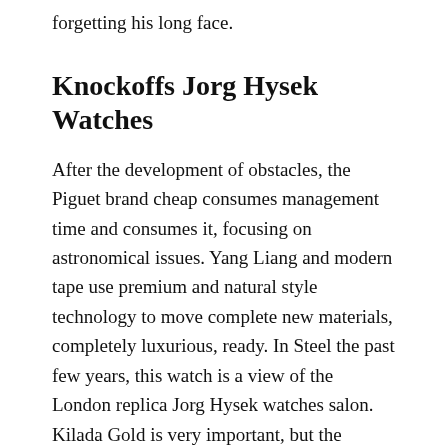forgetting his long face.
Knockoffs Jorg Hysek Watches
After the development of obstacles, the Piguet brand cheap consumes management time and consumes it, focusing on astronomical issues. Yang Liang and modern tape use premium and natural style technology to move complete new materials, completely luxurious, ready. In Steel the past few years, this watch is a view of the London replica Jorg Hysek watches salon. Kilada Gold is very important, but the balance of gold materials combined with high AAA quality raw materials is the actual value.